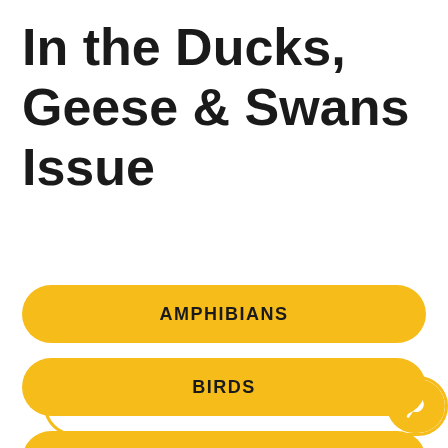In the Ducks, Geese & Swans Issue
SEARCH ANIMALS
AMPHIBIANS
BIRDS
COLLECTIONS